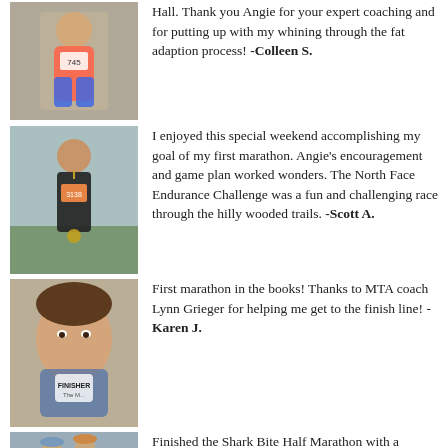[Figure (photo): Person wearing race bib #745 in pink/orange tank top and blue shorts, standing outdoors]
Hall. Thank you Angie for your expert coaching and for putting up with my whining through the fat adaption process! -Colleen S.
[Figure (photo): Man with medal wearing race bib #3138, black tank top, standing on grass at race event]
I enjoyed this special weekend accomplishing my goal of my first marathon. Angie's encouragement and game plan worked wonders. The North Face Endurance Challenge was a fun and challenging race through the hilly wooded trails. -Scott A.
[Figure (photo): Woman holding up a FINISHER medal, selfie close-up]
First marathon in the books! Thanks to MTA coach Lynn Grieger for helping me get to the finish line! - Karen J.
[Figure (photo): Two people outdoors near a red vehicle, wearing race attire and hats]
Finished the Shark Bite Half Marathon with a 2:17:01 PR. Used your 2:20 Half...